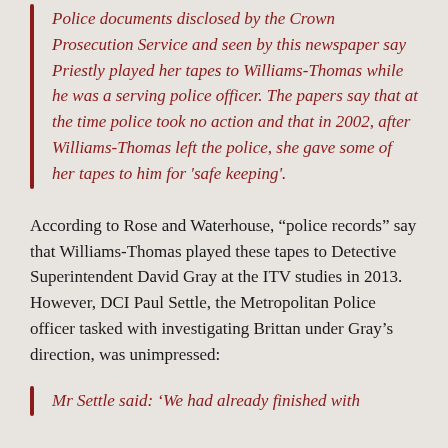Police documents disclosed by the Crown Prosecution Service and seen by this newspaper say Priestly played her tapes to Williams-Thomas while he was a serving police officer. The papers say that at the time police took no action and that in 2002, after Williams-Thomas left the police, she gave some of her tapes to him for 'safe keeping'.
According to Rose and Waterhouse, “police records” say that Williams-Thomas played these tapes to Detective Superintendent David Gray at the ITV studies in 2013. However, DCI Paul Settle, the Metropolitan Police officer tasked with investigating Brittan under Gray’s direction, was unimpressed:
Mr Settle said: ‘We had already finished with